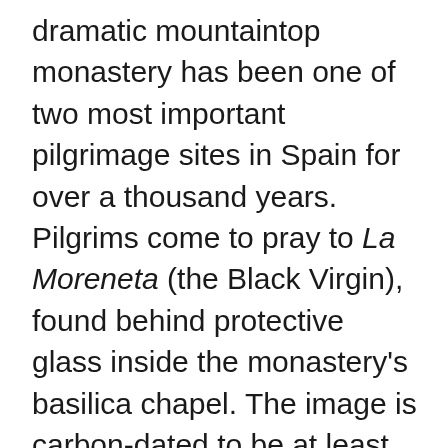dramatic mountaintop monastery has been one of two most important pilgrimage sites in Spain for over a thousand years. Pilgrims come to pray to La Moreneta (the Black Virgin), found behind protective glass inside the monastery's basilica chapel. The image is carbon-dated to be at least 800 years old, and legend has it that she was carved by St Luke, brought to Spain by St Peter, and hidden in one of the mountain caves to protect it from the Moorish invasions. The Ave Maria path leading up to the basilica is lined with votive candles and you can visit the room where believers leave personal